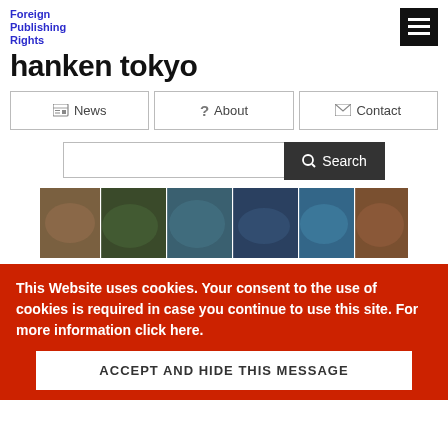Foreign Publishing Rights hanken tokyo
News
About
Contact
[Figure (screenshot): Horizontal banner strip showing 6 panels of prehistoric/underwater creature illustrations in blue-green tones]
This Website uses cookies. Your consent to the use of cookies is required in case you continue to use this site. For more information click here.
ACCEPT AND HIDE THIS MESSAGE